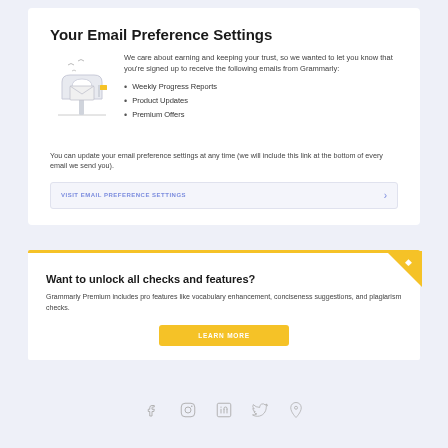Your Email Preference Settings
[Figure (illustration): Mailbox with envelope illustration with birds flying above]
We care about earning and keeping your trust, so we wanted to let you know that you're signed up to receive the following emails from Grammarly:
Weekly Progress Reports
Product Updates
Premium Offers
You can update your email preference settings at any time (we will include this link at the bottom of every email we send you).
VISIT EMAIL PREFERENCE SETTINGS
Want to unlock all checks and features?
Grammarly Premium includes pro features like vocabulary enhancement, conciseness suggestions, and plagiarism checks.
LEARN MORE
[Figure (illustration): Social media icons: Facebook, Instagram, LinkedIn, Twitter, Pinterest]